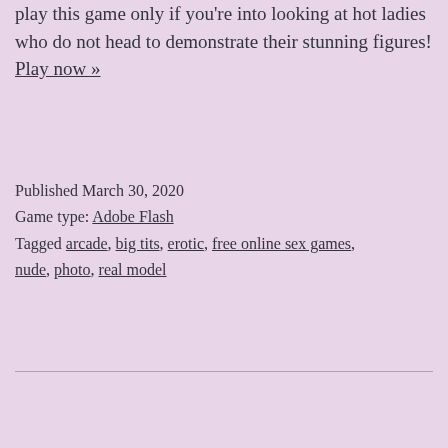creatures exciting. Quite simply you need to play this game only if you're into looking at hot ladies who do not head to demonstrate their stunning figures! Play now »
Published March 30, 2020
Game type: Adobe Flash
Tagged arcade, big tits, erotic, free online sex games, nude, photo, real model